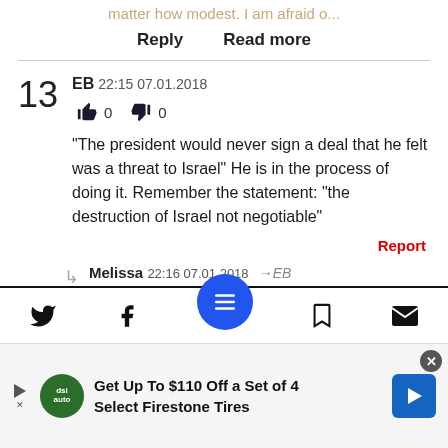matter how modest. I am afraid o...
Reply   Read more
13  EB  22:15 07.01.2018
👍 0  👎 0
"The president would never sign a deal that he felt was a threat to Israel" He is in the process of doing it. Remember the statement: "the destruction of Israel not negotiable"
Report
Melissa  22:16 07.01.2018  →EB
👍 0
Get Up To $110 Off a Set of 4 Select Firestone Tires